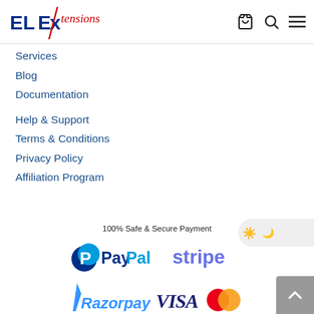[Figure (logo): ELExtensions logo with blue bold text and red italic script]
Services
Blog
Documentation
Help & Support
Terms & Conditions
Privacy Policy
Affiliation Program
100% Safe & Secure Payment
[Figure (logo): PayPal logo]
[Figure (logo): Stripe logo]
[Figure (logo): Razorpay logo]
[Figure (logo): VISA logo]
[Figure (logo): Mastercard logo]